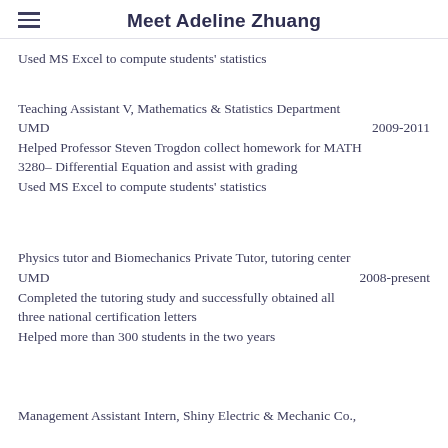Meet Adeline Zhuang
Used MS Excel to compute students' statistics
Teaching Assistant V, Mathematics & Statistics Department UMD 2009-2011
Helped Professor Steven Trogdon collect homework for MATH 3280– Differential Equation and assist with grading
Used MS Excel to compute students' statistics
Physics tutor and Biomechanics Private Tutor, tutoring center UMD 2008-present
Completed the tutoring study and successfully obtained all three national certification letters
Helped more than 300 students in the two years
Management Assistant Intern, Shiny Electric & Mechanic Co.,